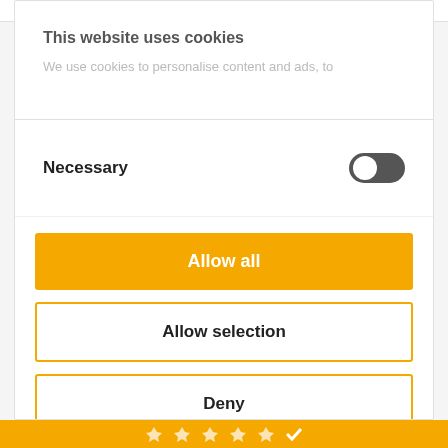EXCELLENT  Recommendation
This website uses cookies
We use cookies to personalise content and ads, to
Necessary
Allow all
Allow selection
Deny